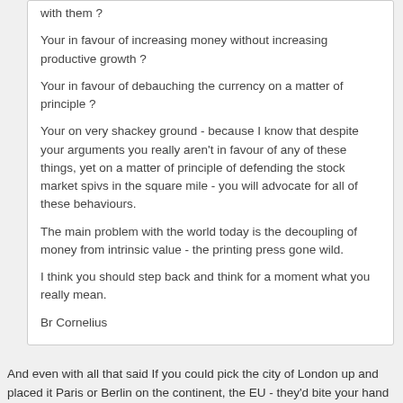with them ?
Your in favour of increasing money without increasing productive growth ?
Your in favour of debauching the currency on a matter of principle ?
Your on very shackey ground - because I know that despite your arguments you really aren't in favour of any of these things, yet on a matter of principle of defending the stock market spivs in the square mile - you will advocate for all of these behaviours.
The main problem with the world today is the decoupling of money from intrinsic value - the printing press gone wild.
I think you should step back and think for a moment what you really mean.
Br Cornelius
And even with all that said If you could pick the city of London up and placed it Paris or Berlin on the continent, the EU - they'd bite your hand